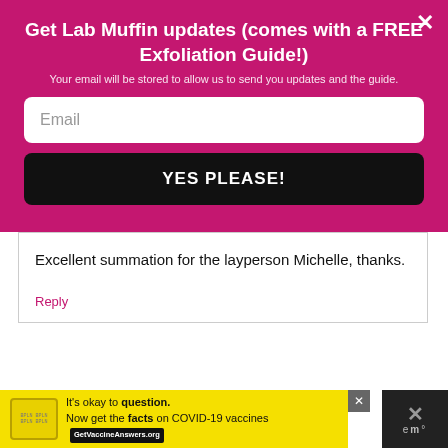Get Lab Muffin updates (comes with a FREE Exfoliation Guide!)
Your email will be stored to allow us to send you updates and the guide.
Email
YES PLEASE!
Excellent summation for the layperson Michelle, thanks.
Reply
LindaLibraLoca
May 13, 2019 at 1:20 am
[Figure (screenshot): Advertisement banner: It's okay to question. Now get the facts on COVID-19 vaccines. GetVaccineAnswers.org]